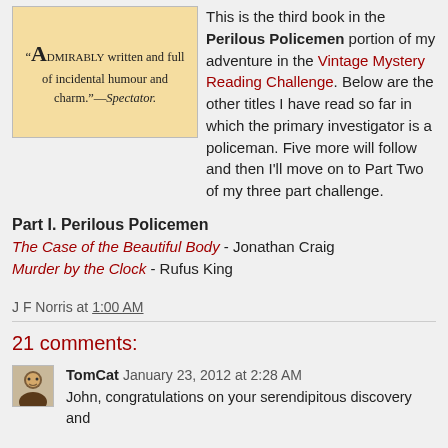[Figure (photo): Scanned book cover or page showing text: '"Admirably written and full of incidental humour and charm."—Spectator.' in vintage typographic style on yellowed paper background.]
This is the third book in the Perilous Policemen portion of my adventure in the Vintage Mystery Reading Challenge. Below are the other titles I have read so far in which the primary investigator is a policeman. Five more will follow and then I'll move on to Part Two of my three part challenge.
Part I. Perilous Policemen
The Case of the Beautiful Body - Jonathan Craig
Murder by the Clock - Rufus King
J F Norris at 1:00 AM
21 comments:
TomCat  January 23, 2012 at 2:28 AM
John, congratulations on your serendipitous discovery and